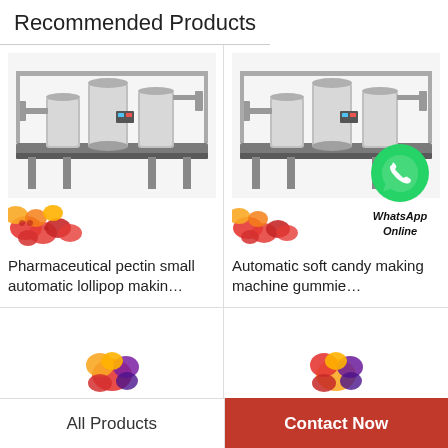Recommended Products
[Figure (photo): Industrial candy/gummy making machine with stainless steel tanks and conveyor, with colorful gummy bears in foreground]
Pharmaceutical pectin small automatic lollipop makin…
[Figure (photo): Industrial candy/gummy making machine identical to first, with colorful gummy bears and WhatsApp Online overlay badge]
Automatic soft candy making machine gummie…
[Figure (photo): Partial view of gummy candy cluster - bottom left card]
[Figure (photo): Partial view of gummy candy cluster - bottom right card]
All Products
Contact Now